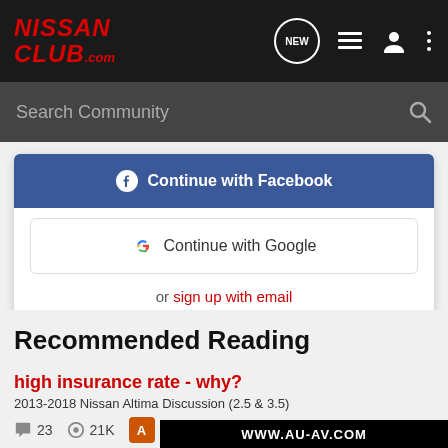NISSAN CLUB.com
Search Community
Continue with Facebook
Continue with Google
or sign up with email
Recommended Reading
high insurance rate - why?
2013-2018 Nissan Altima Discussion (2.5 & 3.5)
23  21K
[Figure (screenshot): WWW.AU-AV.COM advertisement banner overlay at bottom of page]